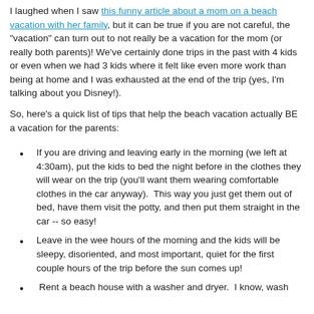I laughed when I saw this funny article about a mom on a beach vacation with her family, but it can be true if you are not careful, the "vacation" can turn out to not really be a vacation for the mom (or really both parents)! We've certainly done trips in the past with 4 kids or even when we had 3 kids where it felt like even more work than being at home and I was exhausted at the end of the trip (yes, I'm talking about you Disney!).
So, here's a quick list of tips that help the beach vacation actually BE a vacation for the parents:
If you are driving and leaving early in the morning (we left at 4:30am), put the kids to bed the night before in the clothes they will wear on the trip (you'll want them wearing comfortable clothes in the car anyway).  This way you just get them out of bed, have them visit the potty, and then put them straight in the car -- so easy!
Leave in the wee hours of the morning and the kids will be sleepy, disoriented, and most important, quiet for the first couple hours of the trip before the sun comes up!
Rent a beach house with a washer and dryer.  I know, wash